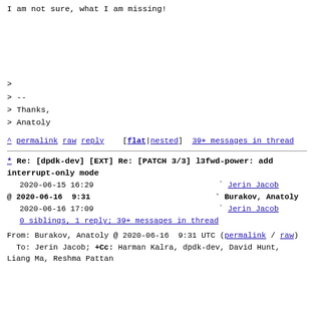I am not sure, what I am missing!
>
> --
> Thanks,
> Anatoly
^ permalink raw reply    [flat|nested]  39+ messages in thread
* Re: [dpdk-dev] [EXT] Re: [PATCH 3/3] l3fwd-power: add interrupt-only mode
  2020-06-15 16:29                             ` Jerin Jacob
@ 2020-06-16  9:31                             ` Burakov, Anatoly
  2020-06-16 17:09                             ` Jerin Jacob
  0 siblings, 1 reply; 39+ messages in thread
From: Burakov, Anatoly @ 2020-06-16  9:31 UTC (permalink / raw)
  To: Jerin Jacob; +Cc: Harman Kalra, dpdk-dev, David Hunt, Liang Ma, Reshma Pattan